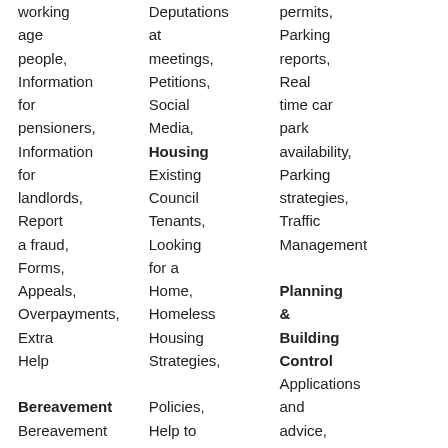working age people, Information for pensioners, Information for landlords, Report a fraud, Forms, Appeals, Overpayments, Extra Help
Deputations at meetings, Petitions, Social Media, Housing Existing Council Tenants, Looking for a Home, Homeless Housing Strategies, Policies, Help to Stay in Your Home, Landlords Energy Efficiency & Improving
permits, Parking reports, Real time car park availability, Parking strategies, Traffic Management, Planning & Building Control Applications and advice, Planning Enforcement, Building Control, Fareham Borough Local Plan, Major